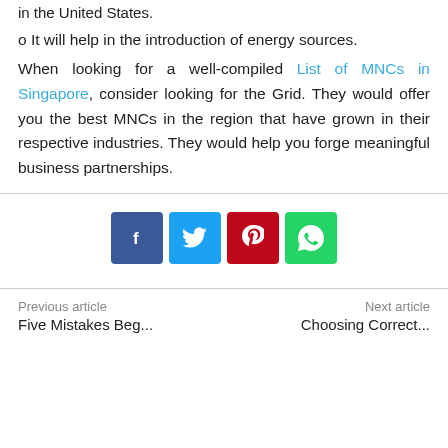in the United States.
o It will help in the introduction of energy sources.
When looking for a well-compiled List of MNCs in Singapore, consider looking for the Grid. They would offer you the best MNCs in the region that have grown in their respective industries. They would help you forge meaningful business partnerships.
[Figure (infographic): Four social media share buttons: Facebook (dark blue), Twitter (light blue), Pinterest (red), WhatsApp (green)]
Previous article | Next article